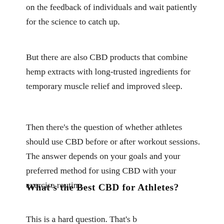on the feedback of individuals and wait patiently for the science to catch up.
But there are also CBD products that combine hemp extracts with long-trusted ingredients for temporary muscle relief and improved sleep.
Then there’s the question of whether athletes should use CBD before or after workout sessions. The answer depends on your goals and your preferred method for using CBD with your exercise routine.
What’s the Best CBD for Athletes?
This is a hard question. That’s b